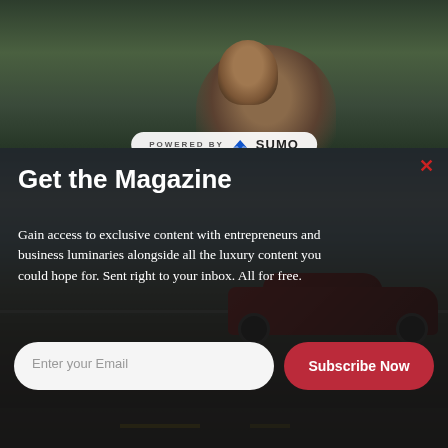[Figure (photo): Blurry outdoor photo of a bearded man wearing a backwards cap, with trees in the background. A 'POWERED BY SUMO' badge is overlaid at the bottom center.]
POWERED BY   SUMO
×
Get the Magazine
Gain access to exclusive content with entrepreneurs and business luminaries alongside all the luxury content you could hope for. Sent right to your inbox. All for free.
[Figure (photo): A red luxury sports car (Rolls-Royce) parked on a road with green hills and a partly cloudy sky in the background.]